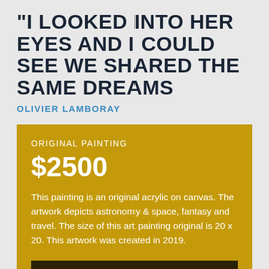"I LOOKED INTO HER EYES AND I COULD SEE WE SHARED THE SAME DREAMS
OLIVIER LAMBORAY
ORIGINAL PAINTING
$2500
This painting is an original acrylic on canvas. The artwork depicts astronomy & space, fantasy and travel. The size of this art painting original is 20 x 20. This artwork was created in 2019.
ADD TO CART